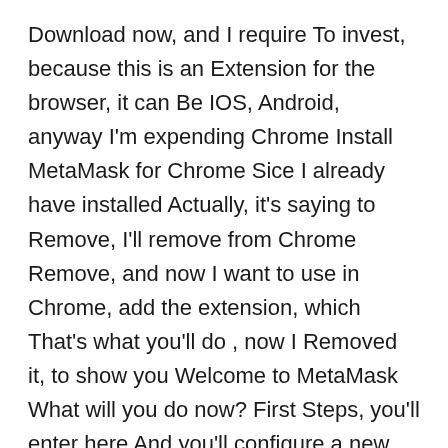Download now, and I require To invest, because this is an Extension for the browser, it can Be IOS, Android, anyway I'm expending Chrome Install MetaMask for Chrome Sice I already have installed Actually, it's saying to Remove, I'll remove from Chrome Remove, and now I want to use in Chrome, add the extension, which That's what you'll do , now I Removed it, to show you Welcome to MetaMask What will you do now? First Steps, you'll enter here And you'll configure a new Wallet, okay? I already have a wallet Then I'll import a Wallet, I concur and when You create a wallet, configure For the first time, it will Render a seed utterance, a Secret phrase, and that mystery phrase You need to keep it under lock and key Because if you lose it You probably lose your Wallet and the money inside Then you keep it coming Under lock and keep for always for maintaining seve Ensure always